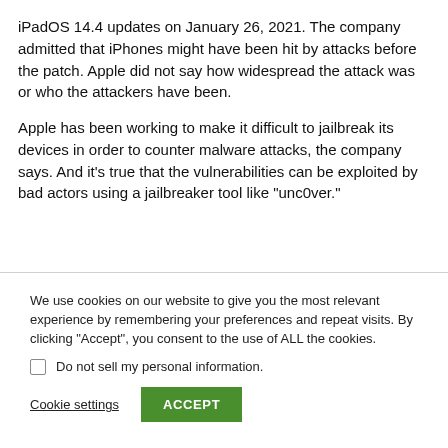iPadOS 14.4 updates on January 26, 2021. The company admitted that iPhones might have been hit by attacks before the patch. Apple did not say how widespread the attack was or who the attackers have been.
Apple has been working to make it difficult to jailbreak its devices in order to counter malware attacks, the company says. And it’s true that the vulnerabilities can be exploited by bad actors using a jailbreaker tool like “unc0ver.”
We use cookies on our website to give you the most relevant experience by remembering your preferences and repeat visits. By clicking “Accept”, you consent to the use of ALL the cookies.
Do not sell my personal information.
Cookie settings
ACCEPT